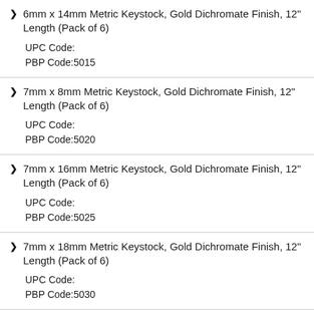6mm x 14mm Metric Keystock, Gold Dichromate Finish, 12" Length (Pack of 6)
UPC Code:
PBP Code:5015
7mm x 8mm Metric Keystock, Gold Dichromate Finish, 12" Length (Pack of 6)
UPC Code:
PBP Code:5020
7mm x 16mm Metric Keystock, Gold Dichromate Finish, 12" Length (Pack of 6)
UPC Code:
PBP Code:5025
7mm x 18mm Metric Keystock, Gold Dichromate Finish, 12" Length (Pack of 6)
UPC Code:
PBP Code:5030
8mm x 10mm Metric Keystock, Gold Dichromate Finish, 12" Length (Pack of 6)